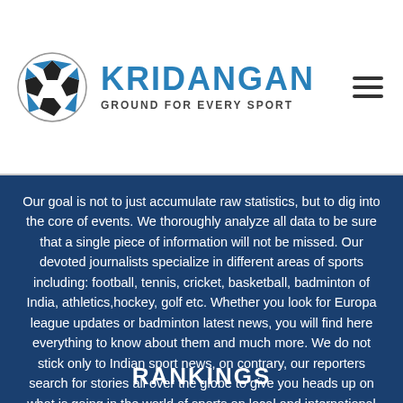[Figure (logo): Kridangan logo: soccer ball with K letter, blue and black colors, with brand name KRIDANGAN and tagline GROUND FOR EVERY SPORT]
Our goal is not to just accumulate raw statistics, but to dig into the core of events. We thoroughly analyze all data to be sure that a single piece of information will not be missed. Our devoted journalists specialize in different areas of sports including: football, tennis, cricket, basketball, badminton of India, athletics,hockey, golf etc. Whether you look for Europa league updates or badminton latest news, you will find here everything to know about them and much more. We do not stick only to Indian sport news, on contrary, our reporters search for stories all over the globe to give you heads up on what is going in the world of sports on local and international scales.
RANKINGS